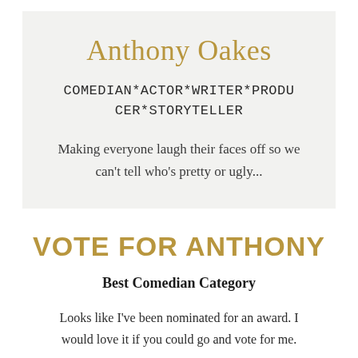Anthony Oakes
COMEDIAN*ACTOR*WRITER*PRODUCER*STORYTELLER
Making everyone laugh their faces off so we can't tell who's pretty or ugly...
VOTE FOR ANTHONY
Best Comedian Category
Looks like I've been nominated for an award. I would love it if you could go and vote for me.